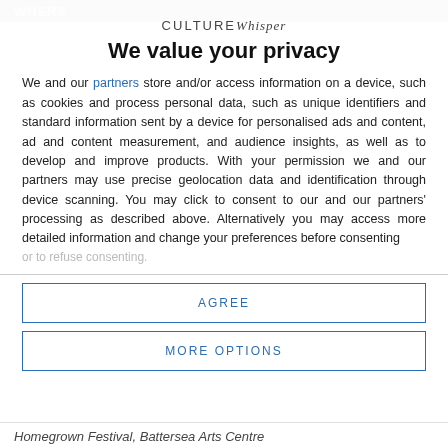WHERE
CULTUREWhisper
We value your privacy
We and our partners store and/or access information on a device, such as cookies and process personal data, such as unique identifiers and standard information sent by a device for personalised ads and content, ad and content measurement, and audience insights, as well as to develop and improve products. With your permission we and our partners may use precise geolocation data and identification through device scanning. You may click to consent to our and our partners' processing as described above. Alternatively you may access more detailed information and change your preferences before consenting or to refuse consenting.
AGREE
MORE OPTIONS
Homegrown Festival, Battersea Arts Centre